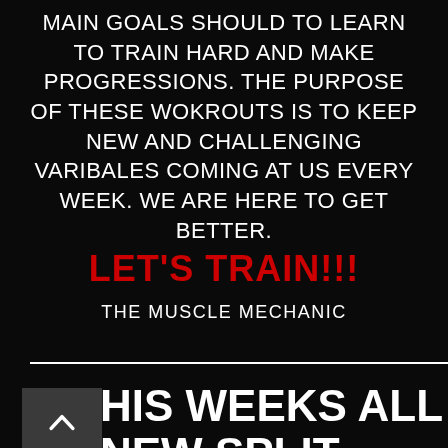MAIN GOALS SHOULD TO LEARN TO TRAIN HARD AND MAKE PROGRESSIONS. THE PURPOSE OF THESE WOKROUTS IS TO KEEP NEW AND CHALLENGING VARIBALES COMING AT US EVERY WEEK. WE ARE HERE TO GET BETTER.
LET'S TRAIN!!!
THE MUSCLE MECHANIC
THIS WEEKS ALL NEW SPLIT